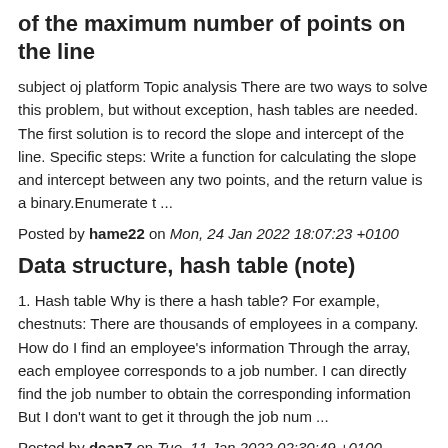of the maximum number of points on the line
subject oj platform Topic analysis There are two ways to solve this problem, but without exception, hash tables are needed. The first solution is to record the slope and intercept of the line. Specific steps: Write a function for calculating the slope and intercept between any two points, and the return value is a binary.Enumerate t ...
Posted by hame22 on Mon, 24 Jan 2022 18:07:23 +0100
Data structure, hash table (note)
1. Hash table Why is there a hash table? For example, chestnuts: There are thousands of employees in a company. How do I find an employee's information Through the array, each employee corresponds to a job number. I can directly find the job number to obtain the corresponding information But I don't want to get it through the job num ...
Posted by dean7 on Tue, 11 Jan 2022 02:30:49 +0100
Pagination: < 1 2 >
Hot Topics